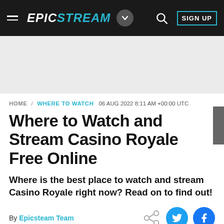EPICSTREAM
[Figure (screenshot): Gray advertisement banner area]
HOME / WHERE TO WATCH  06 AUG 2022 8:11 AM +00:00 UTC
Where to Watch and Stream Casino Royale Free Online
Where is the best place to watch and stream Casino Royale right now? Read on to find out!
By Epicsteam Team